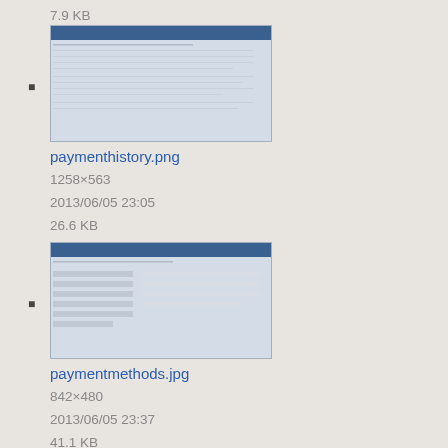7.9 KB
[Figure (screenshot): Thumbnail screenshot of paymenthistory.png showing a web page with a table layout]
paymenthistory.png
1258×563
2013/06/05 23:05
26.6 KB
[Figure (screenshot): Thumbnail screenshot of paymentmethods.jpg showing a web page form]
paymentmethods.jpg
842×480
2013/06/05 23:37
41.1 KB
[Figure (screenshot): Thumbnail screenshot of paymentmethods.png showing a web page form]
paymentmethods.png
1089×618
2013/06/05 23:05
159 KB